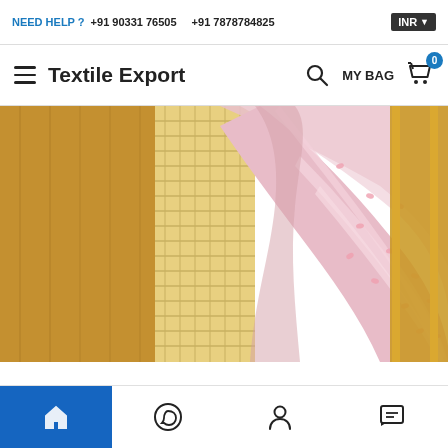NEED HELP ? +91 90331 76505   +91 7878784825   INR
Textile Export
[Figure (photo): Photo of a woman wearing a light pink saree with subtle floral print, standing against a golden/wooden background. Only the torso and draped fabric are visible.]
[Figure (other): A light gray empty card/box placeholder below the product image.]
Bottom navigation bar with home, WhatsApp, account, and chat/message icons